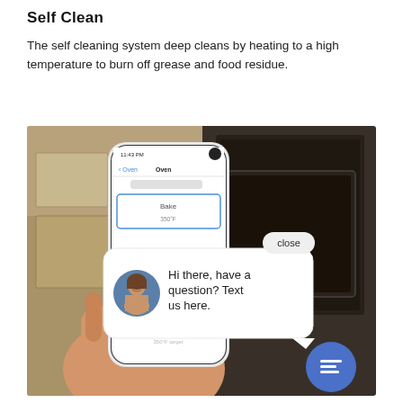Self Clean
The self cleaning system deep cleans by heating to a high temperature to burn off grease and food residue.
[Figure (photo): A hand holding a smartphone displaying an oven control app, with a chat bubble overlay showing a female avatar and the text 'Hi there, have a question? Text us here.' with a close button and a blue chat icon button in the bottom right corner. The background shows a kitchen with an oven.]